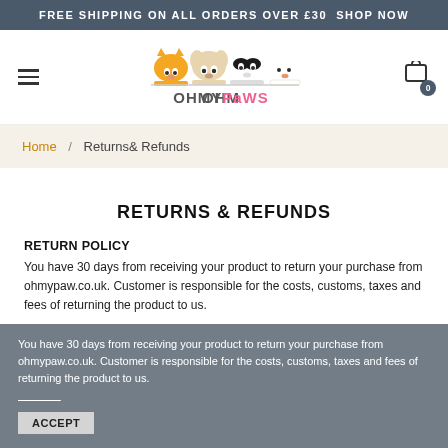FREE SHIPPING ON ALL ORDERS OVER £30  SHOP NOW
[Figure (logo): OhMyPaws logo with cartoon pet faces (cat, puppies) above the text OHMYPAWS]
Home / Returns& Refunds
RETURNS & REFUNDS
RETURN POLICY
You have 30 days from receiving your product to return your purchase from ohmypaw.co.uk. Customer is responsible for the costs, customs, taxes and fees of returning the product to us.